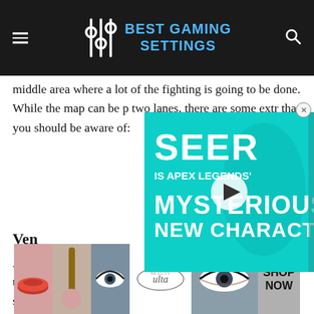Best Gaming Settings
middle area where a lot of the fighting is going to be done. While the map can be p[artially obscured] two lanes, there are some extr[a things] that you should be aware of:
[Figure (screenshot): Seer - Apex Legends' Mysterious New Character video advertisement overlay with play button]
Ven[ts]
Around the map there are various vents that you can use to take a different angle. These are vital on a map like this since the layout is so straight forward, these spaces are really important for flanking and moving around without the enemy knowing entirely where to find you.
[Figure (photo): Ulta Beauty advertisement banner showing makeup products and models with SHOP NOW button]